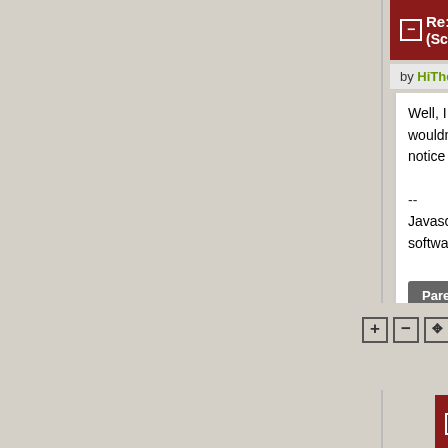Re:Nothing to do with E... (Score: 2)
by HiThere (866) on Wednesday April 15...
Well, IIUC, it would spread somew... wouldn't even notice it. But you w... notice that it had happened.

--
Javascript is what you use to allow... software you have no idea about o...
Parent
Re:Nothing to do with Ei... 0) by Anonymous Coward on... @10:33AM
Re:Nothing to do with Ein... (Score: 2)
by c0lo (156) on Wednesday April 15 2020,...
And if we begin to reject isotropy i... everything we've ever known hyp... the same...